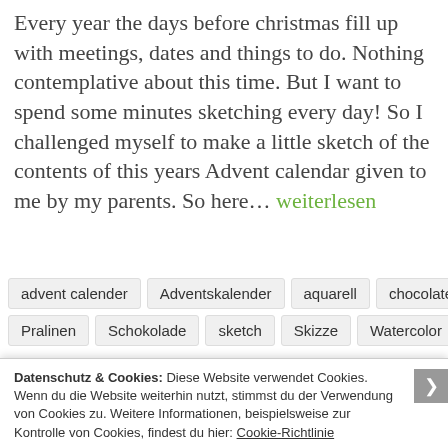Every year the days before christmas fill up with meetings, dates and things to do. Nothing contemplative about this time. But I want to spend some minutes sketching every day! So I challenged myself to make a little sketch of the contents of this years Advent calendar given to me by my parents. So here... weiterlesen
advent calender
Adventskalender
aquarell
chocolate
Pralinen
Schokolade
sketch
Skizze
Watercolor
Datenschutz & Cookies: Diese Website verwendet Cookies. Wenn du die Website weiterhin nutzt, stimmst du der Verwendung von Cookies zu. Weitere Informationen, beispielsweise zur Kontrolle von Cookies, findest du hier: Cookie-Richtlinie
Schließen und Akzeptieren